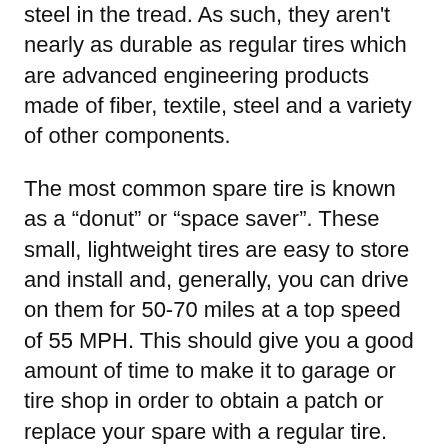steel in the tread. As such, they aren't nearly as durable as regular tires which are advanced engineering products made of fiber, textile, steel and a variety of other components.
The most common spare tire is known as a “donut” or “space saver”. These small, lightweight tires are easy to store and install and, generally, you can drive on them for 50-70 miles at a top speed of 55 MPH. This should give you a good amount of time to make it to garage or tire shop in order to obtain a patch or replace your spare with a regular tire.
Alternatively, some vehicles are able to accommodate a full-sized spare tire. These are much more stable than donuts but the tread is typically much different than the rest of your tires so handling could be an issue even though you’ll get